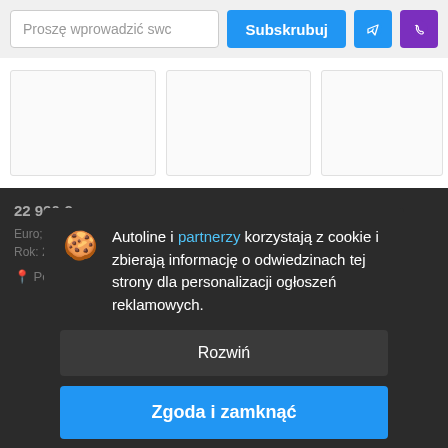[Figure (screenshot): Top bar with email input field, blue Subscribe button, Telegram and Viber icon buttons]
[Figure (screenshot): Three empty white product/listing cards side by side]
22 990 €
Euro; Euro
Rok: 2021 ...
Polska, Wałbrzych
Autoline i partnerzy korzystają z cookie i zbierają informację o odwiedzinach tej strony dla personalizacji ogłoszeń reklamowych.
Rozwiń
Zgoda i zamknąć